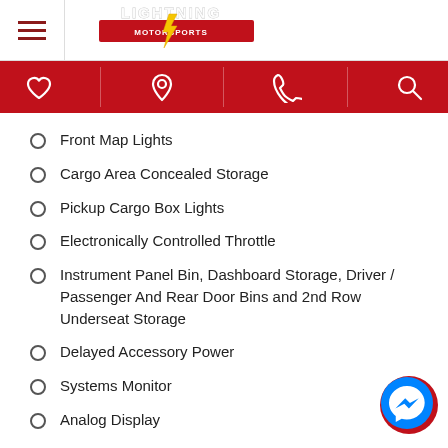Lightning Motorsports
Front Map Lights
Cargo Area Concealed Storage
Pickup Cargo Box Lights
Electronically Controlled Throttle
Instrument Panel Bin, Dashboard Storage, Driver / Passenger And Rear Door Bins and 2nd Row Underseat Storage
Delayed Accessory Power
Systems Monitor
Analog Display